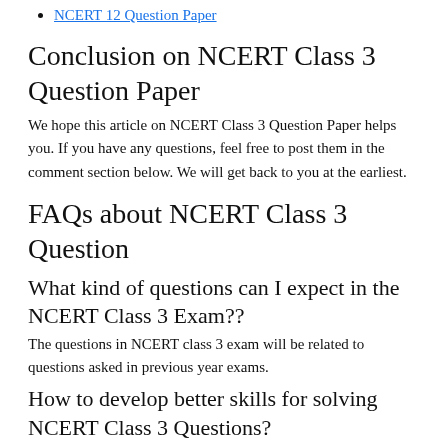NCERT 12 Question Paper
Conclusion on NCERT Class 3 Question Paper
We hope this article on NCERT Class 3 Question Paper helps you. If you have any questions, feel free to post them in the comment section below. We will get back to you at the earliest.
FAQs about NCERT Class 3 Question
What kind of questions can I expect in the NCERT Class 3 Exam??
The questions in NCERT class 3 exam will be related to questions asked in previous year exams.
How to develop better skills for solving NCERT Class 3 Questions?
The best and most effective way to develop better skills for tackling